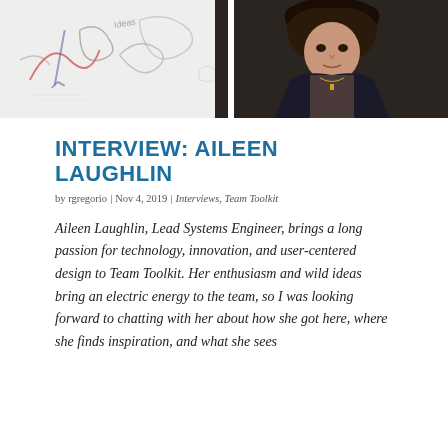[Figure (photo): Banner photo showing two images side by side: left side is a whiteboard with hand-drawn sketches, right side is a woman with dark curly hair wearing a dark jacket and floral top with a cross necklace.]
INTERVIEW: AILEEN LAUGHLIN
by rgregorio | Nov 4, 2019 | Interviews, Team Toolkit
Aileen Laughlin, Lead Systems Engineer, brings a long passion for technology, innovation, and user-centered design to Team Toolkit. Her enthusiasm and wild ideas bring an electric energy to the team, so I was looking forward to chatting with her about how she got here, where she finds inspiration, and what she sees